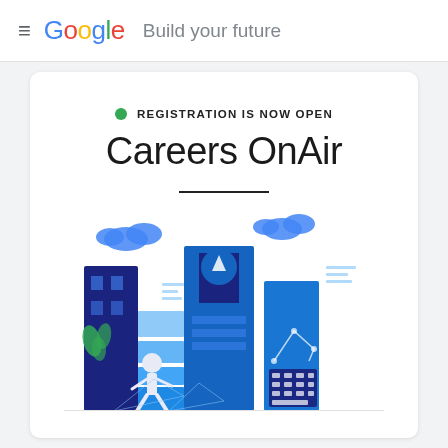≡ Google Build your future
● REGISTRATION IS NOW OPEN
Careers OnAir
[Figure (illustration): Illustrated cityscape with blue buildings, a person walking, graph/chart elements, clouds, and decorative foliage — representing a Google Careers event themed illustration.]